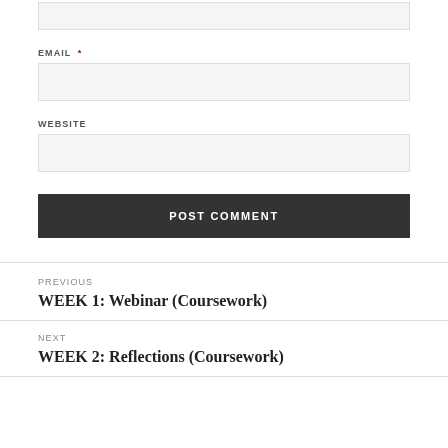EMAIL *
WEBSITE
POST COMMENT
PREVIOUS
WEEK 1: Webinar (Coursework)
NEXT
WEEK 2: Reflections (Coursework)